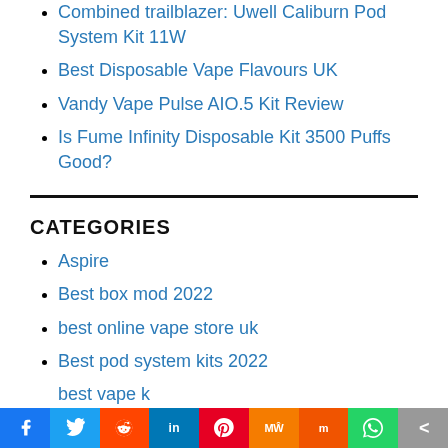Combined trailblazer: Uwell Caliburn Pod System Kit 11W
Best Disposable Vape Flavours UK
Vandy Vape Pulse AIO.5 Kit Review
Is Fume Infinity Disposable Kit 3500 Puffs Good?
CATEGORIES
Aspire
Best box mod 2022
best online vape store uk
Best pod system kits 2022